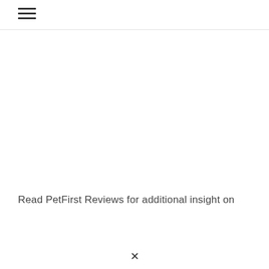Read PetFirst Reviews for additional insight on